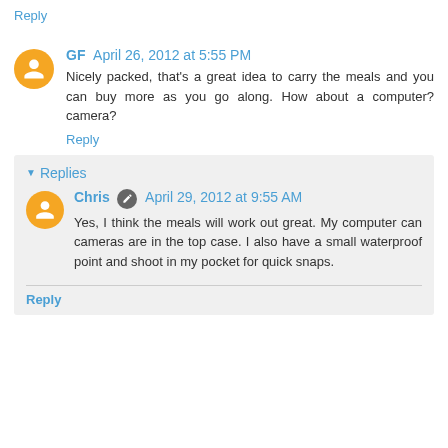Reply
GF  April 26, 2012 at 5:55 PM
Nicely packed, that's a great idea to carry the meals and you can buy more as you go along. How about a computer? camera?
Reply
Replies
Chris  April 29, 2012 at 9:55 AM
Yes, I think the meals will work out great. My computer can cameras are in the top case. I also have a small waterproof point and shoot in my pocket for quick snaps.
Reply